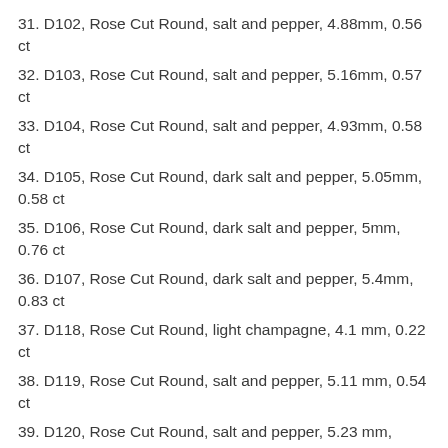31. D102, Rose Cut Round, salt and pepper, 4.88mm, 0.56 ct
32. D103, Rose Cut Round, salt and pepper, 5.16mm, 0.57 ct
33. D104, Rose Cut Round, salt and pepper, 4.93mm, 0.58 ct
34. D105, Rose Cut Round, dark salt and pepper, 5.05mm, 0.58 ct
35. D106, Rose Cut Round, dark salt and pepper, 5mm, 0.76 ct
36. D107, Rose Cut Round, dark salt and pepper, 5.4mm, 0.83 ct
37. D118, Rose Cut Round, light champagne, 4.1 mm, 0.22 ct
38. D119, Rose Cut Round, salt and pepper, 5.11 mm, 0.54 ct
39. D120, Rose Cut Round, salt and pepper, 5.23 mm,